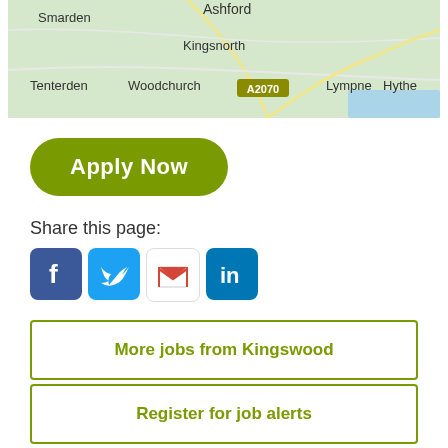[Figure (map): Map showing area around Ashford, Kent, UK including Smarden, Kingsnorth, Tenterden, Woodchurch, A2070, Lympne, Hythe]
Apply Now
Share this page:
[Figure (infographic): Social media share icons: Facebook, Twitter, Gmail, LinkedIn]
More jobs from Kingswood
Register for job alerts